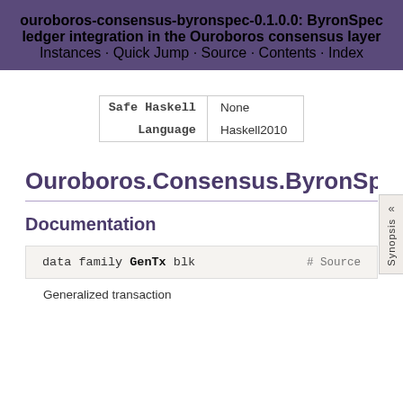ouroboros-consensus-byronspec-0.1.0.0: ByronSpec ledger integration in the Ouroboros consensus layer
Instances · Quick Jump · Source · Contents · Index
|  |  |
| --- | --- |
| Safe Haskell | None |
| Language | Haskell2010 |
Ouroboros.Consensus.ByronSpec.Ledger
Documentation
data family GenTx blk  # Source
Generalized transaction